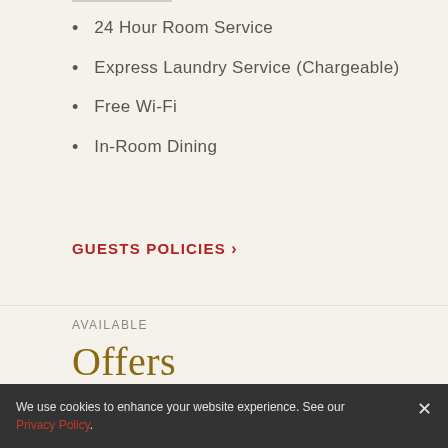24 Hour Room Service
Express Laundry Service (Chargeable)
Free Wi-Fi
In-Room Dining
GUESTS POLICIES >
AVAILABLE
Offers
[Figure (photo): Partial view of a hotel or building exterior photo strip]
We use cookies to enhance your website experience. See our Privacy Policy.